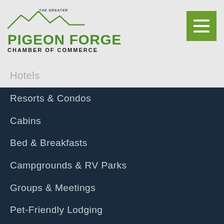[Figure (logo): The Greater Pigeon Forge Chamber of Commerce logo with mountain silhouette]
[Figure (other): Green hamburger/menu icon button]
Hotels
Resorts & Condos
Cabins
Bed & Breakfasts
Campgrounds & RV Parks
Groups & Meetings
Pet-Friendly Lodging
THINGS TO DO
Attractions
Indoor Activities
Outdoor Adventures
Live Shows